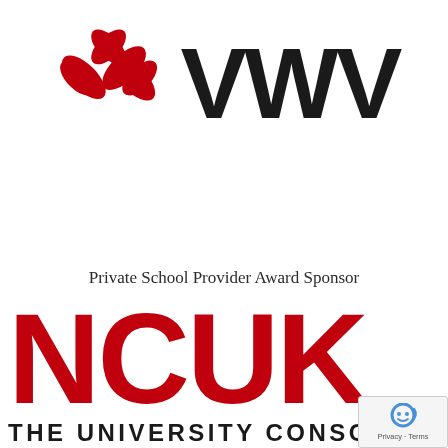[Figure (logo): VWV law firm logo with red asterisk/snowflake icon on the left and bold black 'VWV' text on the right]
Private School Provider Award Sponsor
[Figure (logo): NCUK - The University Consortium logo in red, large bold letters NCUK above and THE UNIVERSITY CONSORTIUM below in black]
[Figure (other): reCAPTCHA badge with robot icon and Privacy · Terms text]